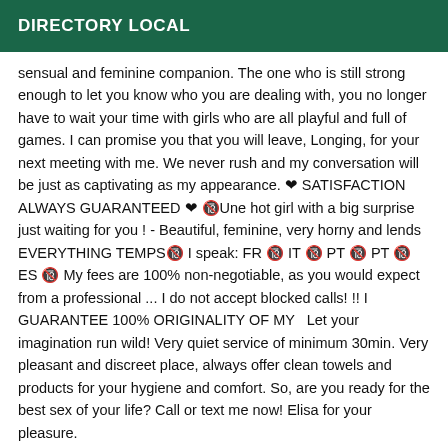DIRECTORY LOCAL
sensual and feminine companion. The one who is still strong enough to let you know who you are dealing with, you no longer have to wait your time with girls who are all playful and full of games. I can promise you that you will leave, Longing, for your next meeting with me. We never rush and my conversation will be just as captivating as my appearance. ❤ SATISFACTION ALWAYS GUARANTEED ❤ 🔞Une hot girl with a big surprise just waiting for you ! - Beautiful, feminine, very horny and lends EVERYTHING TEMPS🔞 I speak: FR 🔞 IT 🔞 PT 🔞 PT 🔞 ES 🔞 My fees are 100% non-negotiable, as you would expect from a professional ... I do not accept blocked calls! !! I GUARANTEE 100% ORIGINALITY OF MY  Let your imagination run wild! Very quiet service of minimum 30min. Very pleasant and discreet place, always offer clean towels and products for your hygiene and comfort. So, are you ready for the best sex of your life? Call or text me now! Elisa for your pleasure.